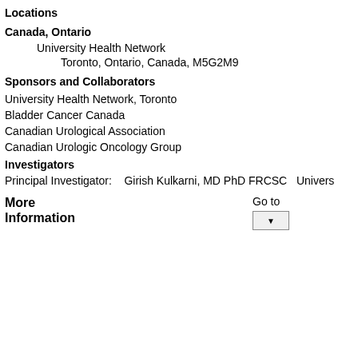Locations
Canada, Ontario
University Health Network
Toronto, Ontario, Canada, M5G2M9
Sponsors and Collaborators
University Health Network, Toronto
Bladder Cancer Canada
Canadian Urological Association
Canadian Urologic Oncology Group
Investigators
Principal Investigator:    Girish Kulkarni, MD PhD FRCSC    Univers
More
Information
Go to